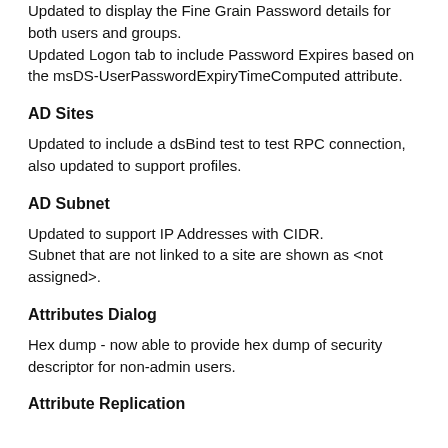Updated to display the Fine Grain Password details for both users and groups.
Updated Logon tab to include Password Expires based on the msDS-UserPasswordExpiryTimeComputed attribute.
AD Sites
Updated to include a dsBind test to test RPC connection, also updated to support profiles.
AD Subnet
Updated to support IP Addresses with CIDR.
Subnet that are not linked to a site are shown as <not assigned>.
Attributes Dialog
Hex dump - now able to provide hex dump of security descriptor for non-admin users.
Attribute Replication